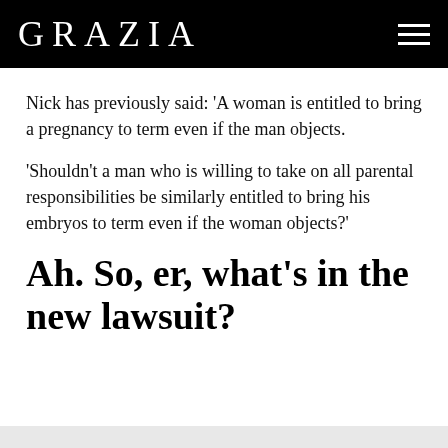GRAZIA
Nick has previously said: 'A woman is entitled to bring a pregnancy to term even if the man objects.
'Shouldn't a man who is willing to take on all parental responsibilities be similarly entitled to bring his embryos to term even if the woman objects?'
Ah. So, er, what's in the new lawsuit?